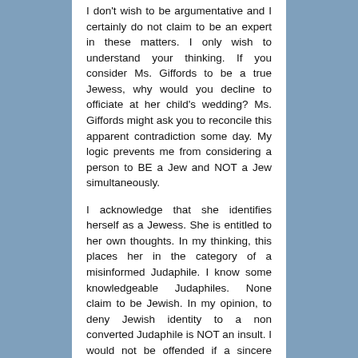I don't wish to be argumentative and I certainly do not claim to be an expert in these matters. I only wish to understand your thinking. If you consider Ms. Giffords to be a true Jewess, why would you decline to officiate at her child's wedding? Ms. Giffords might ask you to reconcile this apparent contradiction some day. My logic prevents me from considering a person to BE a Jew and NOT a Jew simultaneously.
I acknowledge that she identifies herself as a Jewess. She is entitled to her own thoughts. In my thinking, this places her in the category of a misinformed Judaphile. I know some knowledgeable Judaphiles. None claim to be Jewish. In my opinion, to deny Jewish identity to a non converted Judaphile is NOT an insult. I would not be offended if a sincere Christian denied me Christian identity (regardless of admiration for the Christian religion) until and unless I underwent baptism.